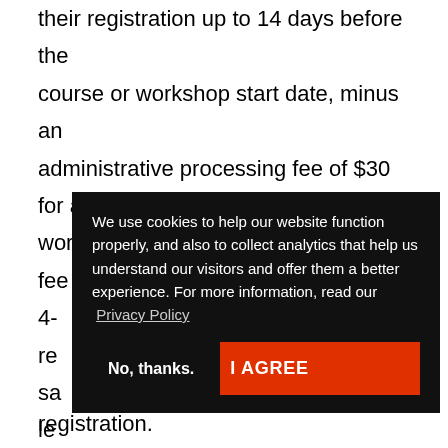their registration up to 14 days before the course or workshop start date, minus an administrative processing fee of $30 for a 2-day workshop or online course, and a $50 fee for a 4-[day workshop. If cancellation is within 14 days re[...] sa[...] le[...] P[...]
We use cookies to help our website function properly, and also to collect analytics that help us understand our visitors and offer them a better experience. For more information, read our Privacy Policy
No, thanks.
I AGREE
registration.